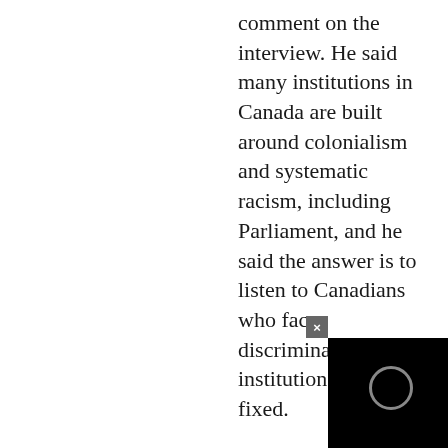comment on the interview. He said many institutions in Canada are built around colonialism and systematic racism, including Parliament, and he said the answer is to listen to Canadians who face discrimination so that institutions can be fixed.
“The answer is not to suddenly toss out all the institutions and start over,” Trudeau said.
“I wish all the m… the royal famil…
[Figure (screenshot): A small video player overlay in the bottom-right corner, showing a dark/black background with a circular play indicator, and a grey close button marked with an X above it.]